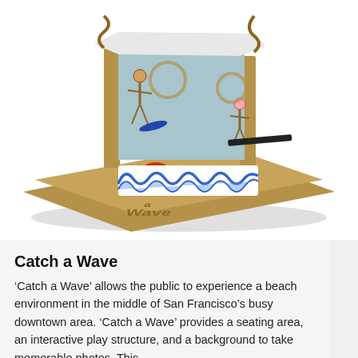[Figure (photo): A 3D cardboard model/diorama of a beach installation called 'Catch a Wave'. The model features a flat cardboard base with the words 'Catch a Wave' carved or painted on it in stylized lettering. On the base stands a backdrop structure made of cardboard, decorated with stick figures surfing and other beach elements. In front of the backdrop are blue painted wave forms made from egg cartons or similar material. There is also a red crab-like figure and stick figures representing surfers.]
Catch a Wave
'Catch a Wave' allows the public to experience a beach environment in the middle of San Francisco's busy downtown area. 'Catch a Wave' provides a seating area, an interactive play structure, and a background to take memorable photos. This